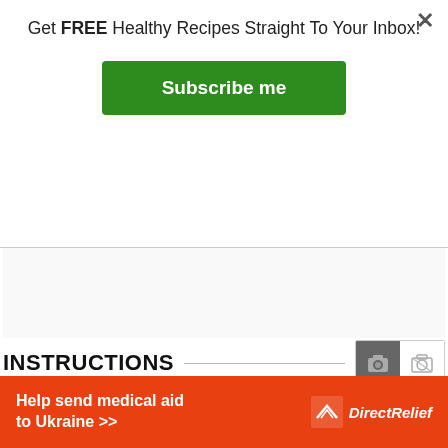Get FREE Healthy Recipes Straight To Your Inbox!
Subscribe me
INSTRUCTIONS
1. To start, if the dates are not soft enough to be mashed, soak them in a bowl with boiling
Help send medical aid to Ukraine >>  DirectRelief